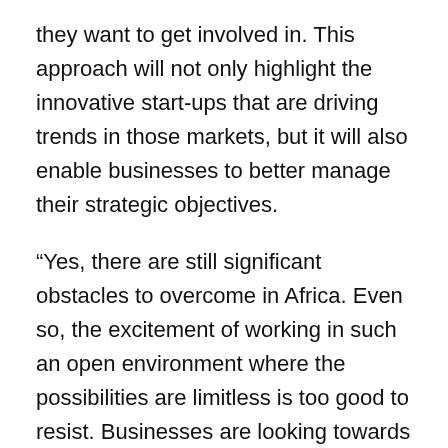they want to get involved in. This approach will not only highlight the innovative start-ups that are driving trends in those markets, but it will also enable businesses to better manage their strategic objectives.
“Yes, there are still significant obstacles to overcome in Africa. Even so, the excitement of working in such an open environment where the possibilities are limitless is too good to resist. Businesses are looking towards this more agile approach and following suit with their own enhancements to better meet the needs of those in the continent,” she concludes.
About SilverBridge